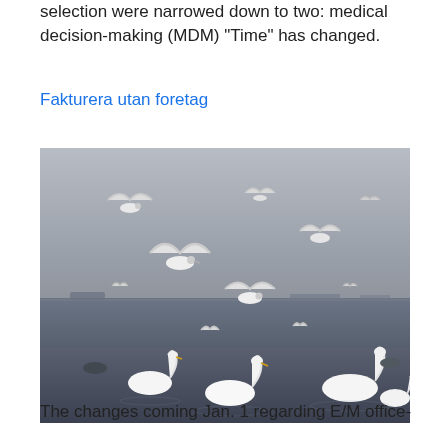selection were narrowed down to two: medical decision-making (MDM) “Time” has changed.
Fakturera utan foretag
[Figure (photo): Photograph of seagulls and swans at a waterfront. Many birds are in flight over water with a hazy horizon and ships in the background. White swans are visible in the lower portion of the image.]
The changes coming Jan. 1 regarding E/M office-